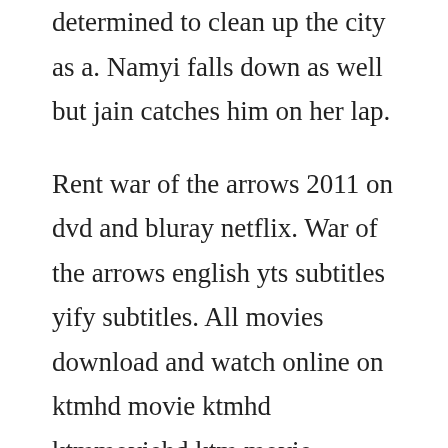determined to clean up the city as a. Namyi falls down as well but jain catches him on her lap.
Rent war of the arrows 2011 on dvd and bluray netflix. War of the arrows english yts subtitles yify subtitles. All movies download and watch online on ktmhd movie ktmhd ktmmoviehd ktm movie bollyshare. Dtshds yts subtitles, yify subtitles download in english language with srt file format dowload. The ultimate weapon, is a 2011 south korean period. Feel free to share this post if it has